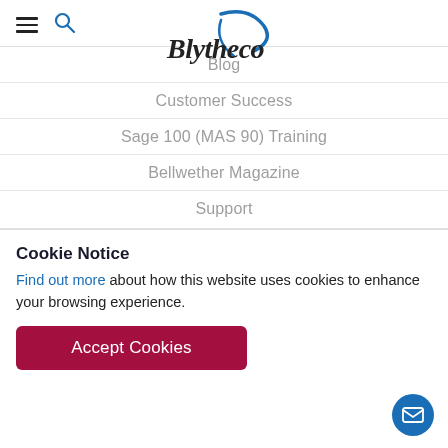[Figure (logo): Blytheco logo with stylized blue swoosh and italic text]
Blog
Customer Success
Sage 100 (MAS 90) Training
Bellwether Magazine
Support
Cookie Notice
Find out more about how this website uses cookies to enhance your browsing experience.
Accept Cookies